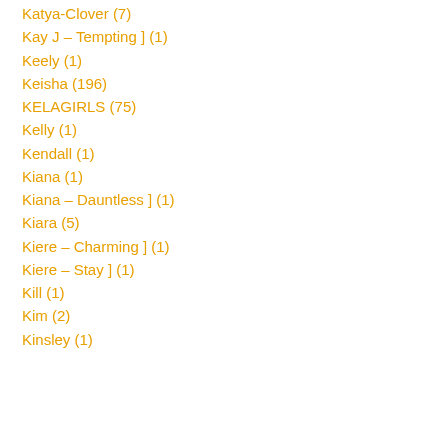Katya-Clover (7)
Kay J – Tempting ] (1)
Keely (1)
Keisha (196)
KELAGIRLS (75)
Kelly (1)
Kendall (1)
Kiana (1)
Kiana – Dauntless ] (1)
Kiara (5)
Kiere – Charming ] (1)
Kiere – Stay ] (1)
Kill (1)
Kim (2)
Kinsley (1)